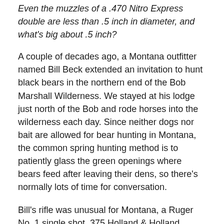Even the muzzles of a .470 Nitro Express double are less than .5 inch in diameter, and what's big about .5 inch?
A couple of decades ago, a Montana outfitter named Bill Beck extended an invitation to hunt black bears in the northern end of the Bob Marshall Wilderness. We stayed at his lodge just north of the Bob and rode horses into the wilderness each day. Since neither dogs nor bait are allowed for bear hunting in Montana, the common spring hunting method is to patiently glass the green openings where bears feed after leaving their dens, so there's normally lots of time for conversation.
Bill's rifle was unusual for Montana, a Ruger No. 1 single shot .375 Holland & Holland Magnum, with much of the bluing gone from the barrel due to years in saddle scabbards, and the nice walnut of the buttstock scarred by branches and rocks. On the second day I asked, “Do you carry a .375 because of grizzlies?”